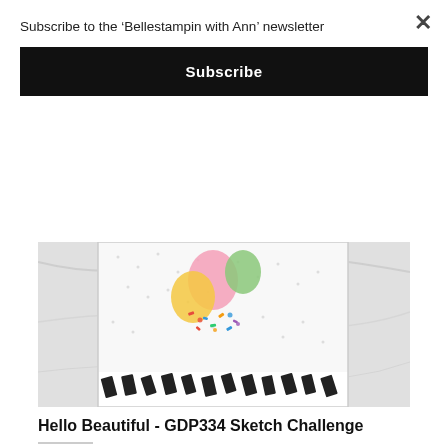Subscribe to the ‘Bellestampin with Ann’ newsletter
Subscribe
[Figure (photo): A crafted greeting card with colorful balloons and decorative confetti on a dotted background, placed on a marble surface. The card features pink, yellow, and green balloons with colorful sprinkles/confetti details and a black and white striped border at the bottom.]
Hello Beautiful - GDP334 Sketch Challenge